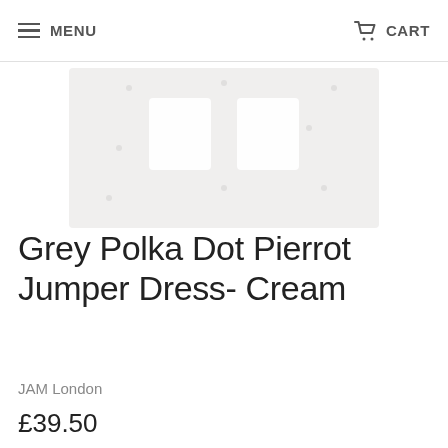MENU  CART
[Figure (photo): Partial product image showing a grey polka dot pierrot jumper dress in cream, cropped at the top of the page]
Grey Polka Dot Pierrot Jumper Dress- Cream
JAM London
£39.50